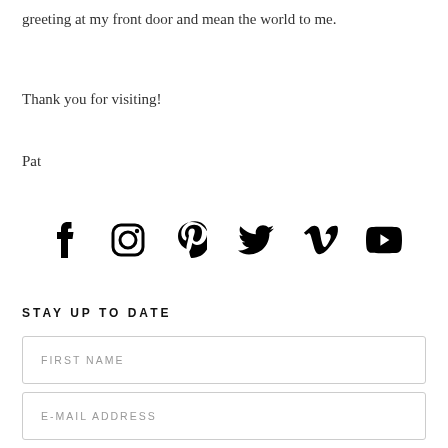greeting at my front door and mean the world to me.
Thank you for visiting!
Pat
[Figure (infographic): Social media icons row: Facebook, Instagram, Pinterest, Twitter, Vimeo, YouTube]
STAY UP TO DATE
FIRST NAME
E-MAIL ADDRESS